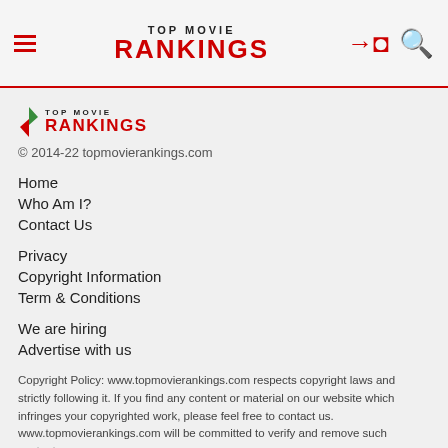TOP MOVIE RANKINGS
[Figure (logo): Top Movie Rankings logo with green and red diamond shape and text]
© 2014-22 topmovierankings.com
Home
Who Am I?
Contact Us
Privacy
Copyright Information
Term & Conditions
We are hiring
Advertise with us
Copyright Policy: www.topmovierankings.com respects copyright laws and strictly following it. If you find any content or material on our website which infringes your copyrighted work, please feel free to contact us. www.topmovierankings.com will be committed to verify and remove such contents.